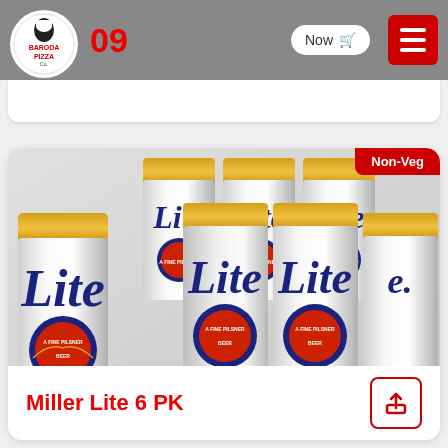Baroda Pizza - Order Now
[Figure (photo): Six Miller Lite beer cans arranged in a 6-pack formation, silver and white cans with blue 'Lite' branding and 'A Fine Pilsner Beer' medallion in red and gold]
Miller Lite 6 PK